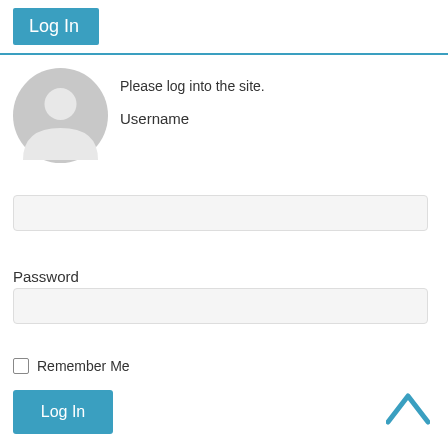Log In
Please log into the site.
Username
[Figure (illustration): Gray placeholder avatar icon showing a silhouette of a person with a circular head and rounded body/shoulders]
Password
Remember Me
Log In